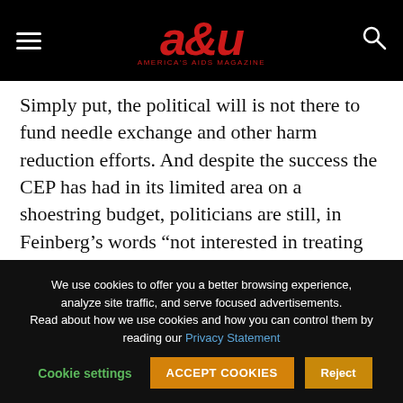a&u America's AIDS Magazine
Simply put, the political will is not there to fund needle exchange and other harm reduction efforts. And despite the success the CEP has had in its limited area on a shoestring budget, politicians are still, in Feinberg's words “not interested in treating addicts as human beings.”
We use cookies to offer you a better browsing experience, analyze site traffic, and serve focused advertisements. Read about how we use cookies and how you can control them by reading our Privacy Statement Cookie settings ACCEPT COOKIES Reject